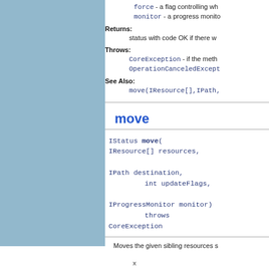force - a flag controlling wh
monitor - a progress monito
Returns: status with code OK if there w
Throws: CoreException - if the meth OperationCanceledExcept
See Also: move(IResource[],IPath,
move
IStatus move(
IResource[] resources,

IPath destination,
                int updateFlags,

IProgressMonitor monitor)
                throws
CoreException
Moves the given sibling resources s